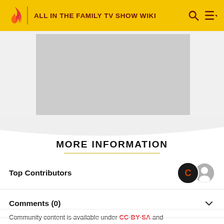ALL IN THE FAMILY TV SHOW WIKI
[Figure (other): Gray placeholder image area for a TV show related image]
MORE INFORMATION
Top Contributors
Comments (0)
Categories
Community content is available under CC-BY-SA and...